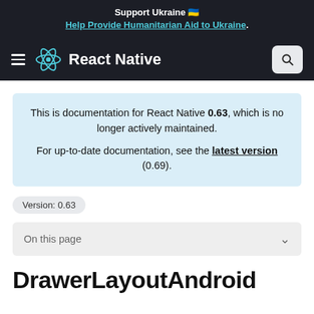Support Ukraine 🇺🇦
Help Provide Humanitarian Aid to Ukraine.
[Figure (screenshot): React Native navigation bar with hamburger menu, React atom logo, brand name 'React Native', and search button]
This is documentation for React Native 0.63, which is no longer actively maintained.
For up-to-date documentation, see the latest version (0.69).
Version: 0.63
On this page
DrawerLayoutAndroid